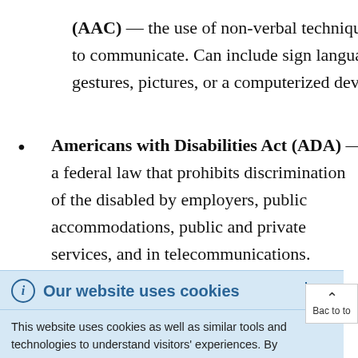(AAC) — the use of non-verbal techniques to communicate. Can include sign language, gestures, pictures, or a computerized device.
Americans with Disabilities Act (ADA) — a federal law that prohibits discrimination of the disabled by employers, public accommodations, public and private services, and in telecommunications. Failure to make reasonable
Our website uses cookies
This website uses cookies as well as similar tools and technologies to understand visitors' experiences. By continuing to use this website, you consent to Columbia University's usage of cookies and similar technologies in accordance with the Columbia University Website Cookie Notice.